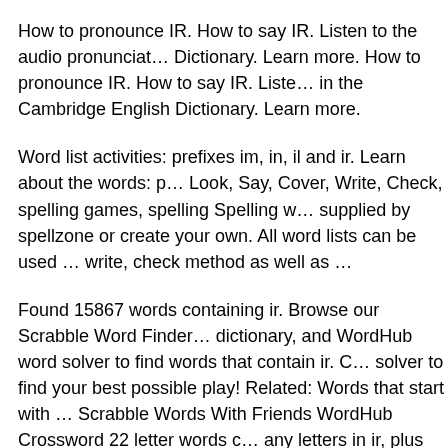How to pronounce IR. How to say IR. Listen to the audio pronunciat... Dictionary. Learn more. How to pronounce IR. How to say IR. Listen... in the Cambridge English Dictionary. Learn more.
Word list activities: prefixes im, in, il and ir. Learn about the words: p... Look, Say, Cover, Write, Check, spelling games, spelling Spelling w... supplied by spellzone or create your own. All word lists can be used ... write, check method as well as …
Found 15867 words containing ir. Browse our Scrabble Word Finder... dictionary, and WordHub word solver to find words that contain ir. C... solver to find your best possible play! Related: Words that start with ... Scrabble Words With Friends WordHub Crossword 22 letter words c... any letters in ir, plus an optional blank or existing letter List all word... containing ir or words ending with ir Didn't find the word you're loo...
How to pronounce IR. How to say IR. Listen to the audio pronunciat... Dictionary. Learn more. 4-letter words starting with IR ATTENTION...